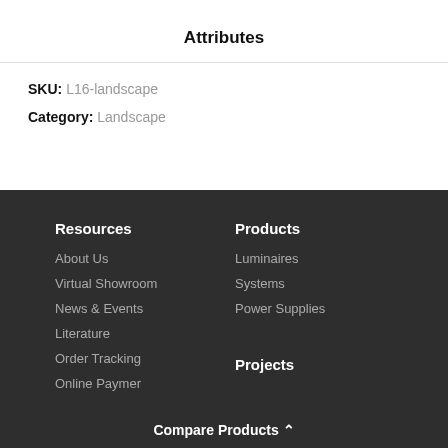Attributes
SKU: L16-landscape
Category: Landscape
Resources
About Us
Virtual Showroom
News & Events
Literature
Order Tracking
Online Paymer
Products
Luminaires
Systems
Power Supplies
Projects
Compare Products ⇑